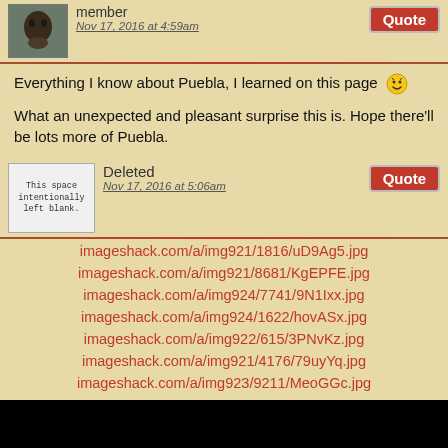member
Nov 17, 2016 at 4:59am
Quote
Everything I know about Puebla, I learned on this page 😜
What an unexpected and pleasant surprise this is. Hope there'll be lots more of Puebla.
[Figure (illustration): Placeholder avatar image showing blank space marked 'This space intentionally left blank.']
Deleted
Nov 17, 2016 at 5:06am
Quote
imageshack.com/a/img921/1816/uD9Ag5.jpg
imageshack.com/a/img921/8681/KgEPFE.jpg
imageshack.com/a/img924/7741/9N1Ixx.jpg
imageshack.com/a/img924/1622/hovASx.jpg
imageshack.com/a/img922/615/3PNvKz.jpg
imageshack.com/a/img921/4176/79uyYq.jpg
imageshack.com/a/img923/9211/MeoGGc.jpg